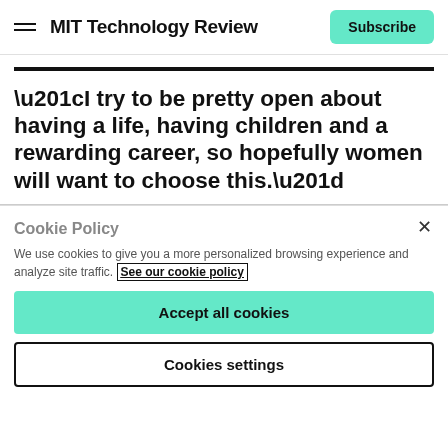MIT Technology Review | Subscribe
“I try to be pretty open about having a life, having children and a rewarding career, so hopefully women will want to choose this.”
Cookie Policy
We use cookies to give you a more personalized browsing experience and analyze site traffic. See our cookie policy
Accept all cookies
Cookies settings